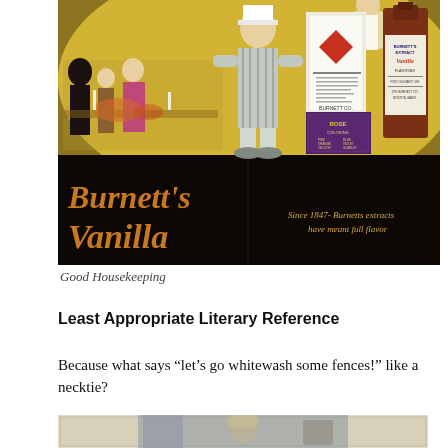[Figure (illustration): Vintage advertisement for Burnett's Vanilla extract. Dark background at bottom with orange-yellow script text reading 'Burnett's Vanilla'. Tagline: 'Since 1847- Burnetts extracts have meant full flavor'. Shows dinner party scene on left, large chef figure in center, product boxes and bottle on right. Products include a diamond-labeled tin, Rose Coloring boxes in purple, and a brown vanilla extract bottle.]
Good Housekeeping
Least Appropriate Literary Reference
Because what says “let’s go whitewash some fences!” like a necktie?
[Figure (photo): Vintage photograph of a young child with light hair, seated, with decorative background elements visible.]